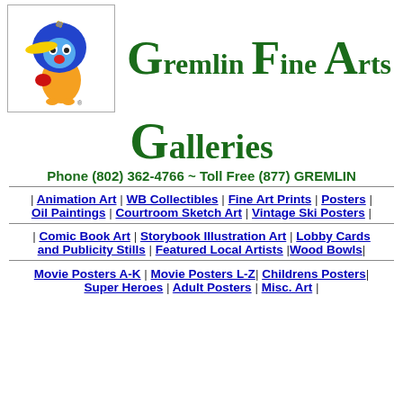[Figure (logo): Cartoon gremlin character mascot — a small orange bird-like creature with a large blue head, yellow beak/propeller, red object in hands, standing]
Gremlin Fine Arts
Galleries
Phone (802) 362-4766 ~ Toll Free (877) GREMLIN
| Animation Art | WB Collectibles | Fine Art Prints | Posters | Oil Paintings | Courtroom Sketch Art | Vintage Ski Posters |
| Comic Book Art | Storybook Illustration Art | Lobby Cards and Publicity Stills | Featured Local Artists | Wood Bowls|
Movie Posters A-K | Movie Posters L-Z | Childrens Posters | Super Heroes | Adult Posters | Misc. Art |